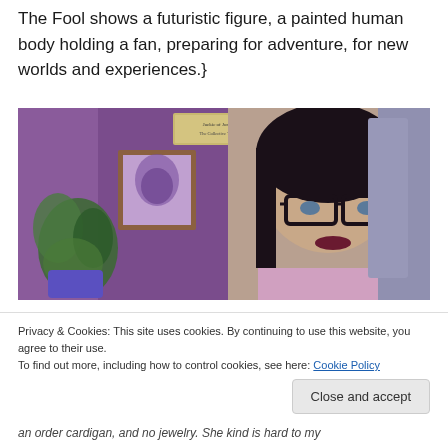The Fool shows a futuristic figure, a painted human body holding a fan, preparing for adventure, for new worlds and experiences.}
[Figure (photo): Photo of a woman with dark hair and black-rimmed glasses, wearing a pink cardigan, in front of a purple wall with plants and a framed picture. A sign reading 'Jackie of Jones The Collective Tarot' is visible in the background.]
Privacy & Cookies: This site uses cookies. By continuing to use this website, you agree to their use.
To find out more, including how to control cookies, see here: Cookie Policy
Close and accept
an order cardigan, and no jewelry. She kind is hard to my